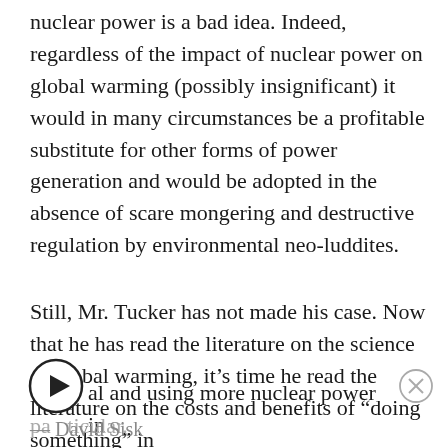nuclear power is a bad idea. Indeed, regardless of the impact of nuclear power on global warming (possibly insignificant) it would in many circumstances be a profitable substitute for other forms of power generation and would be adopted in the absence of scare mongering and destructive regulation by environmental neo-luddites.
Still, Mr. Tucker has not made his case. Now that he has read the literature on the science of global warming, it’s time he read the literature on the costs and benefits of “doing something” in general and using more nuclear power in particular.
— David Sisk